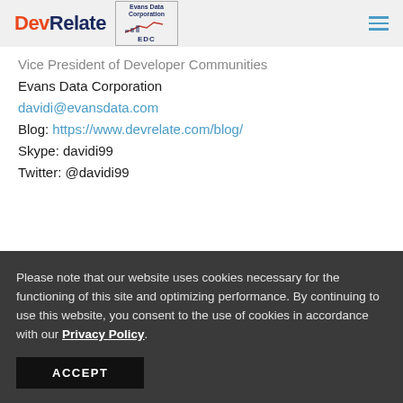DevRelate | Evans Data Corporation EDC
Vice President of Developer Communities
Evans Data Corporation
davidi@evansdata.com
Blog: https://www.devrelate.com/blog/
Skype: davidi99
Twitter: @davidi99
Please note that our website uses cookies necessary for the functioning of this site and optimizing performance. By continuing to use this website, you consent to the use of cookies in accordance with our Privacy Policy.
ACCEPT